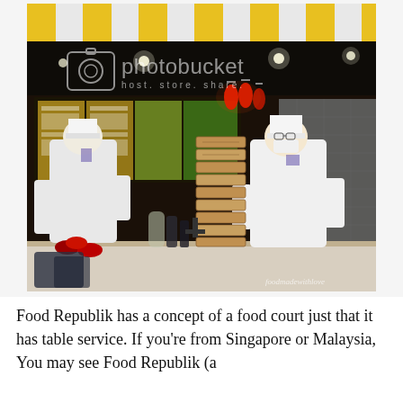[Figure (photo): Interior of Food Republik food court showing two chefs in white uniforms and hats working behind a counter. A tall stack of bamboo dim sum steamers is visible in the center. Menu boards are illuminated in the background. A yellow and white striped awning is visible at the top. A Photobucket watermark overlay reads 'photobucket host. store. share.' An attribution watermark reads 'foodmadewithlove' in the bottom right corner.]
Food Republik has a concept of a food court just that it has table service. If you're from Singapore or Malaysia, You may see Food Republik (a